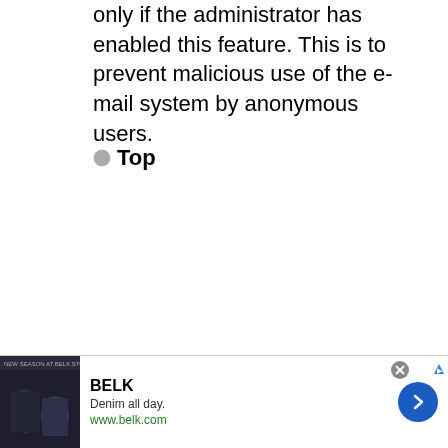only if the administrator has enabled this feature. This is to prevent malicious use of the e-mail system by anonymous users.
Top
[Figure (other): Advertisement banner for BELK clothing store showing 'Denim all day. www.belk.com' with a dark background image of clothing/people and a blue circular arrow button.]